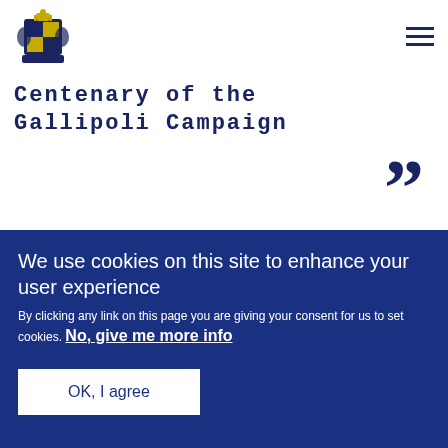Centenary of the Gallipoli Campaign
[Figure (logo): UK Government Royal Coat of Arms logo in dark blue]
Centenary of the Gallipoli Campaign
“”
“Forty per cent of us on
We use cookies on this site to enhance your user experience
By clicking any link on this page you are giving your consent for us to set cookies. No, give me more info
OK, I agree